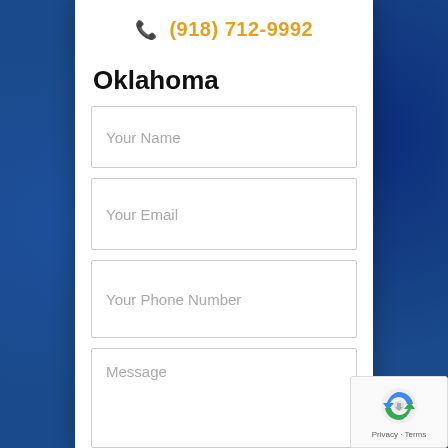(918) 712-9992
Oklahoma
Your Name
Your Email
Your Phone Number
Message
Privacy · Terms